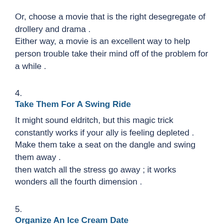Or, choose a movie that is the right desegregate of drollery and drama . Either way, a movie is an excellent way to help person trouble take their mind off of the problem for a while .
4.
Take Them For A Swing Ride
It might sound eldritch, but this magic trick constantly works if your ally is feeling depleted . Make them take a seat on the dangle and swing them away . then watch all the stress go away ; it works wonders all the fourth dimension .
5.
Organize An Ice Cream Date